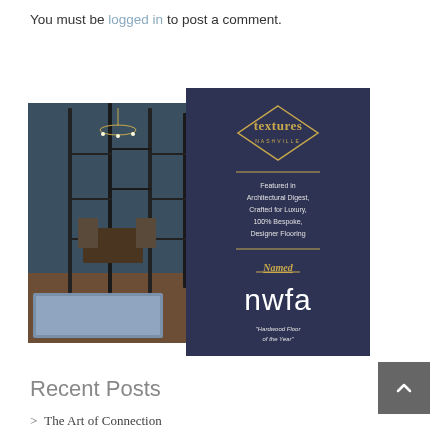You must be logged in to post a comment.
[Figure (illustration): Advertisement image for Textures Nashville flooring company. Left side shows interior room with black steel-frame glass doors, chandelier, dining area, and decorative rug. Right side shows dark navy card with diamond-shaped logo reading 'textures NASHVILLE', text 'Featured in Architectural Digest, Crafted for Luxury, 100% Bespoke, Designer Flooring', gold horizontal lines, 'Named' label in gold italic underlined text, 'nwfa' large text, and small text 'Hardwood Floor of the Year']
Recent Posts
> The Art of Connection